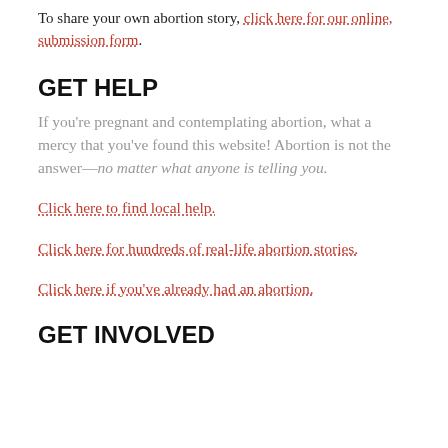To share your own abortion story, click here for our online, submission form.
GET HELP
If you're pregnant and contemplating abortion, what a mercy that you've found this website! Abortion is not the answer—no matter what anyone is telling you.
Click here to find local help.
Click here for hundreds of real-life abortion stories.
Click here if you've already had an abortion.
GET INVOLVED